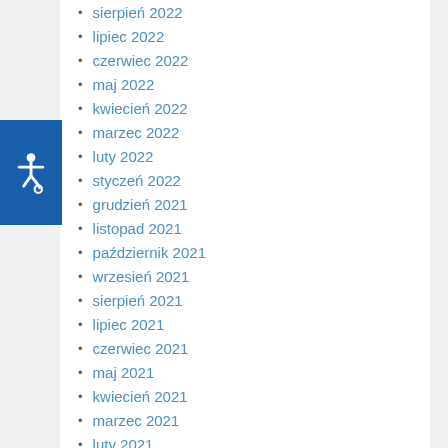sierpień 2022
lipiec 2022
czerwiec 2022
maj 2022
kwiecień 2022
marzec 2022
luty 2022
styczeń 2022
grudzień 2021
listopad 2021
październik 2021
wrzesień 2021
sierpień 2021
lipiec 2021
czerwiec 2021
maj 2021
kwiecień 2021
marzec 2021
luty 2021
styczeń 2021
grudzień 2020
listopad 2020